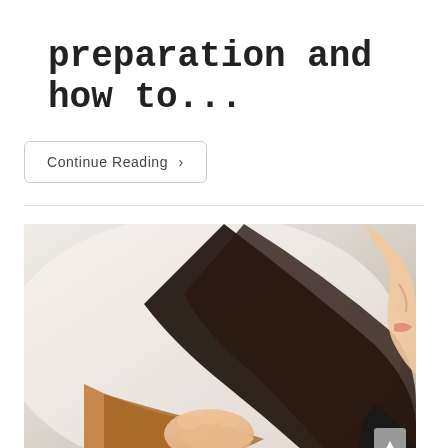preparation and how to...
Continue Reading ›
[Figure (photo): A woman examining her hair ends/split ends, looking at her long dark hair closely from the side profile]